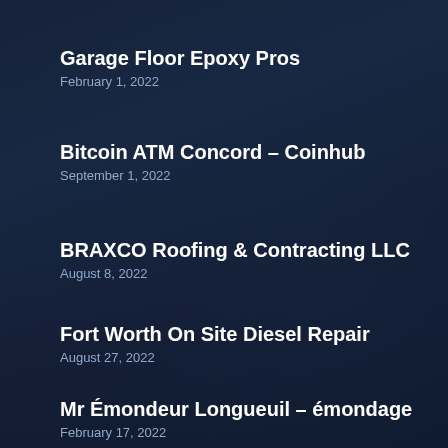Garage Floor Epoxy Pros
February 1, 2022
Bitcoin ATM Concord – Coinhub
September 1, 2022
BRAXCO Roofing & Contracting LLC
August 8, 2022
Fort Worth On Site Diesel Repair
August 27, 2022
Mr Émondeur Longueuil – émondage
February 17, 2022